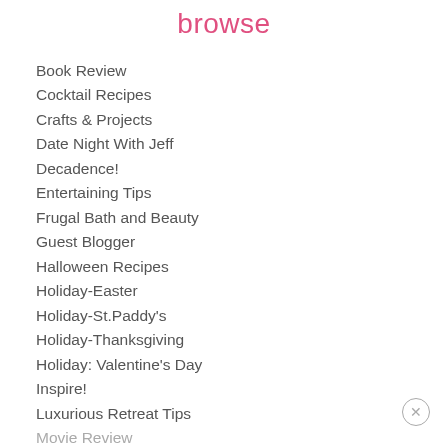browse
Book Review
Cocktail Recipes
Crafts & Projects
Date Night With Jeff
Decadence!
Entertaining Tips
Frugal Bath and Beauty
Guest Blogger
Halloween Recipes
Holiday-Easter
Holiday-St.Paddy's
Holiday-Thanksgiving
Holiday: Valentine's Day
Inspire!
Luxurious Retreat Tips
Movie Review
Music Review